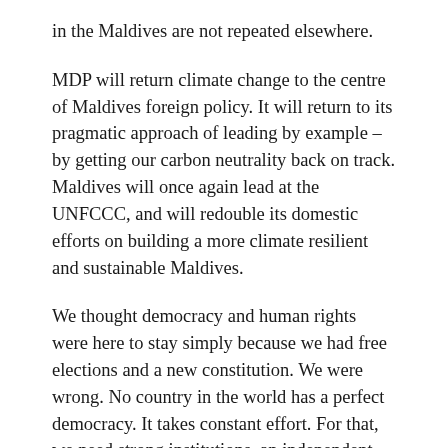in the Maldives are not repeated elsewhere.
MDP will return climate change to the centre of Maldives foreign policy. It will return to its pragmatic approach of leading by example – by getting our carbon neutrality back on track. Maldives will once again lead at the UNFCCC, and will redouble its domestic efforts on building a more climate resilient and sustainable Maldives.
We thought democracy and human rights were here to stay simply because we had free elections and a new constitution. We were wrong. No country in the world has a perfect democracy. It takes constant effort. For that, we need strong institutions, an independent judiciary, good laws, and an active and vigilant civil society.
And we need the assistance of our partners to build